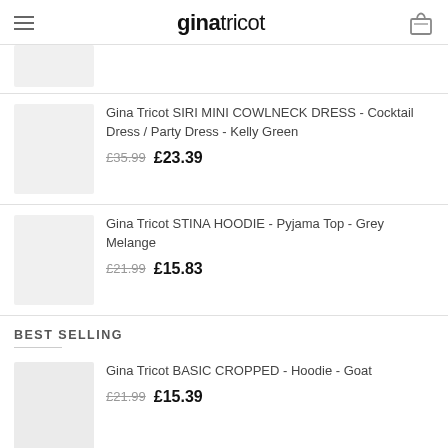ginatricot
[Figure (screenshot): Partial product image placeholder (grey rectangle) at top of list]
Gina Tricot SIRI MINI COWLNECK DRESS - Cocktail Dress / Party Dress - Kelly Green £35.99 £23.39
Gina Tricot STINA HOODIE - Pyjama Top - Grey Melange £21.99 £15.83
BEST SELLING
Gina Tricot BASIC CROPPED - Hoodie - Goat £21.99 £15.39
Gina Tricot 90S WRAP - Relaxed Fit Jeans - Light